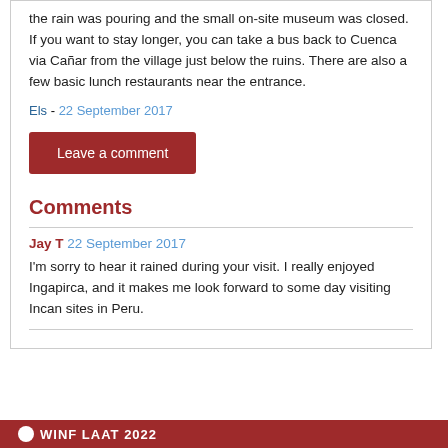the rain was pouring and the small on-site museum was closed. If you want to stay longer, you can take a bus back to Cuenca via Cañar from the village just below the ruins. There are also a few basic lunch restaurants near the entrance.
Els - 22 September 2017
Leave a comment
Comments
Jay T  22 September 2017
I'm sorry to hear it rained during your visit. I really enjoyed Ingapirca, and it makes me look forward to some day visiting Incan sites in Peru.